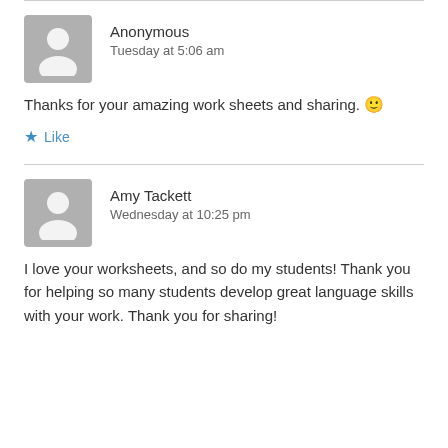Anonymous
Tuesday at 5:06 am
Thanks for your amazing work sheets and sharing. 🙂
★ Like
Amy Tackett
Wednesday at 10:25 pm
I love your worksheets, and so do my students! Thank you for helping so many students develop great language skills with your work. Thank you for sharing!